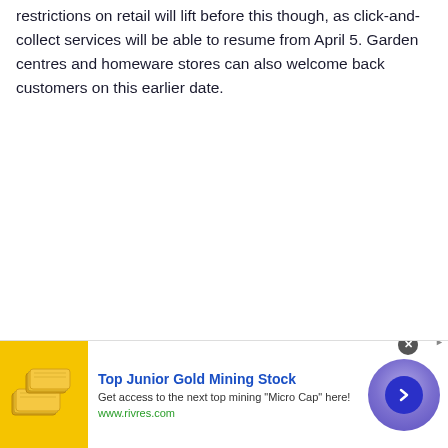restrictions on retail will lift before this though, as click-and-collect services will be able to resume from April 5. Garden centres and homeware stores can also welcome back customers on this earlier date.
[Figure (other): Advertisement banner for Top Junior Gold Mining Stock with gold bars image, text 'Get access to the next top mining Micro Cap here!' and URL www.rivres.com, with a purple circular arrow button.]